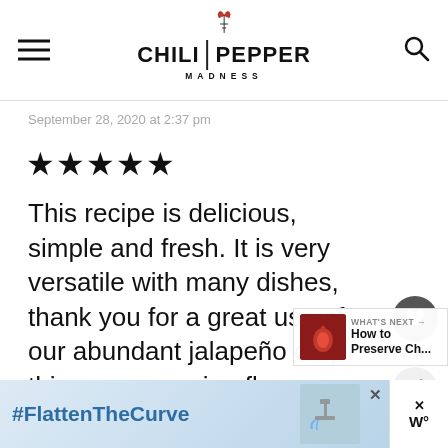CHILI PEPPER MADNESS
September 28, 2020 at 2:37 pm
★★★★★
This recipe is delicious, simple and fresh. It is very versatile with many dishes, thank you for a great use of our abundant jalapeño crop this year, amazing flavor. Not hot to but a super way to enjoy the unique flavor of this pepper.
2.4K
WHAT'S NEXT → How to Preserve Ch...
#FlattenTheCurve